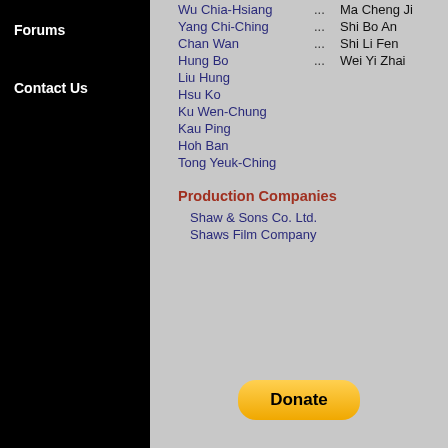Forums
Contact Us
Wu Chia-Hsiang ... Ma Cheng Ji
Yang Chi-Ching ... Shi Bo An
Chan Wan ... Shi Li Fen
Hung Bo ... Wei Yi Zhai
Liu Hung
Hsu Ko
Ku Wen-Chung
Kau Ping
Hoh Ban
Tong Yeuk-Ching
Production Companies
Shaw & Sons Co. Ltd.
Shaws Film Company
Donate